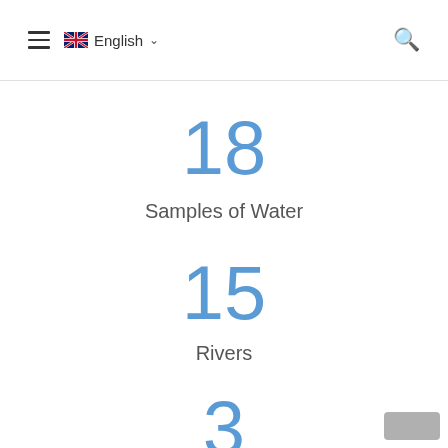≡ 🇬🇧 English ∨  🔍
18
Samples of Water
15
Rivers
3